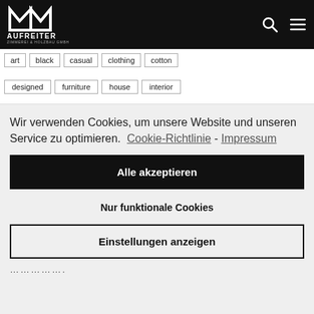AUFREITER ZIMMEREI & HOLZBAU GMBH
art
black
casual
clothing
cotton
designed
furniture
house
interior
Wir verwenden Cookies, um unsere Website und unseren Service zu optimieren. Cookie-Richtlinie - Impressum
Alle akzeptieren
Nur funktionale Cookies
Einstellungen anzeigen
…………….